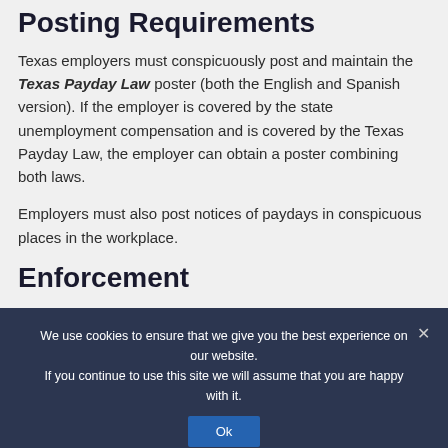Posting Requirements
Texas employers must conspicuously post and maintain the Texas Payday Law poster (both the English and Spanish version). If the employer is covered by the state unemployment compensation and is covered by the Texas Payday Law, the employer can obtain a poster combining both laws.
Employers must also post notices of paydays in conspicuous places in the workplace.
Enforcement
An employee who is not paid wages as prescribed
We use cookies to ensure that we give you the best experience on our website. If you continue to use this site we will assume that you are happy with it.